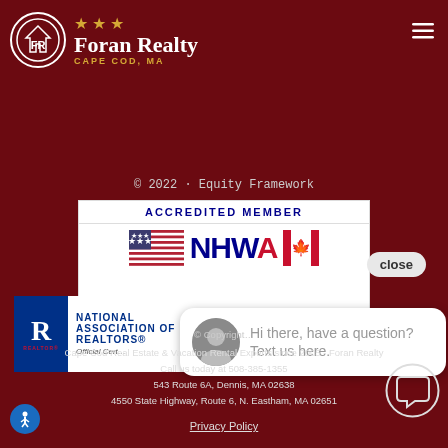[Figure (logo): Foran Realty Cape Cod MA logo with circular FR emblem, gold stars, and company name]
© 2022 · Equity Framework
[Figure (logo): NHWA Accredited Member badge with US and Canadian flags]
close
[Figure (logo): National Association of Realtors official certification logo]
[Figure (screenshot): Chat widget with agent photo saying: Hi there, have a question? Text us here.]
© Copyright
Cape Cod Real Estate & Vacation Rental Experts since 2005 - Foran Realty
Call us today at 508-385-1355
543 Route 6A, Dennis, MA 02638
4550 State Highway, Route 6, N. Eastham, MA 02651
Privacy Policy